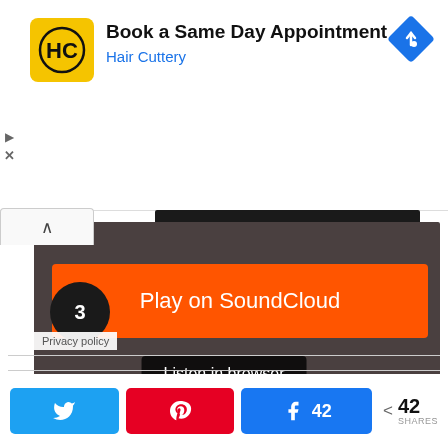[Figure (screenshot): Hair Cuttery ad banner: yellow logo with HC initials, title 'Book a Same Day Appointment', subtitle 'Hair Cuttery' in blue, and a blue navigation diamond icon on right]
[Figure (screenshot): SoundCloud embedded player with dark background, orange 'Play on SoundCloud' button, 'Listen in browser' dark pill button, a number badge '3', and 'Privacy policy' text]
Play on SoundCloud
Listen in browser
Privacy policy
42 SHARES